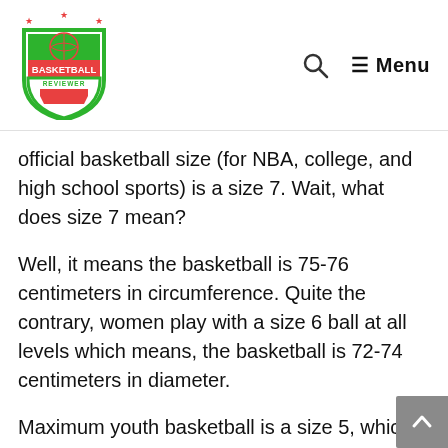Basketball Reviewer — Search — Menu
official basketball size (for NBA, college, and high school sports) is a size 7. Wait, what does size 7 mean?
Well, it means the basketball is 75-76 centimeters in circumference. Quite the contrary, women play with a size 6 ball at all levels which means, the basketball is 72-74 centimeters in diameter.
Maximum youth basketball is a size 5, which is 69-71 centimeters in diameter whereas K-2 leagues use a size 3 ball, which is 56-57